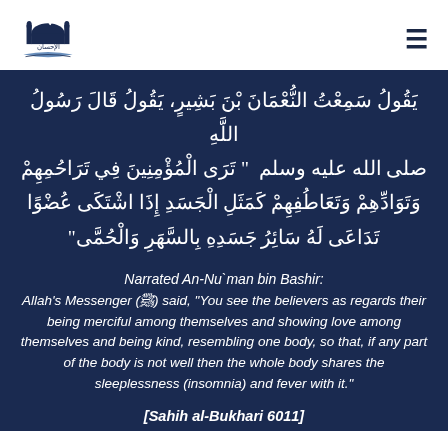Al-Ihsan logo with hamburger menu
يَقُولُ سَمِعْتُ النُّعْمَانَ بْنَ بَشِيرٍ، يَقُولُ قَالَ رَسُولُ اللَّهِ صلى الله عليه وسلم " تَرَى الْمُؤْمِنِينَ فِي تَرَاحُمِهِمْ وَتَوَادِّهِمْ وَتَعَاطُفِهِمْ كَمَثَلِ الْجَسَدِ إِذَا اشْتَكَى عُضْوًا تَدَاعَى لَهُ سَائِرُ جَسَدِهِ بِالسَّهَرِ وَالْحُمَّى"
Narrated An-Nu`man bin Bashir: Allah's Messenger (ﷺ) said, "You see the believers as regards their being merciful among themselves and showing love among themselves and being kind, resembling one body, so that, if any part of the body is not well then the whole body shares the sleeplessness (insomnia) and fever with it."
[Sahih al-Bukhari 6011]